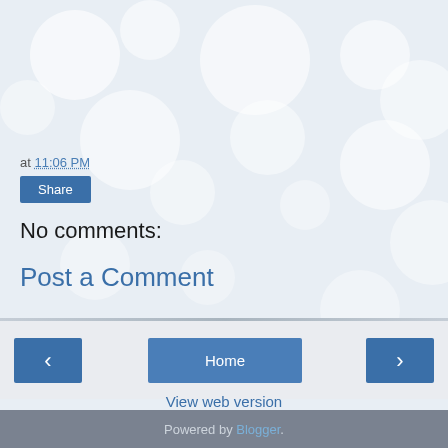at 11:06 PM
Share
No comments:
Post a Comment
‹
Home
›
View web version
Powered by Blogger.